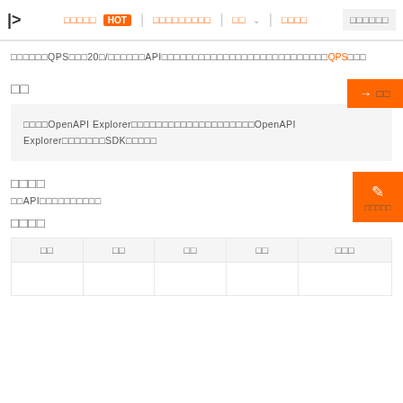navigation bar with HOT badge and menu links
□□□□□□QPS□□□20□/□□□□□□API□□□□□□□□□□□□□□□□□□□□□□□□□□□QPS□□□
□□
□□□□OpenAPI Explorer□□□□□□□□□□□□□□□□□□□□OpenAPI Explorer□□□□□□SDK□□□□□
□□□□
□□API□□□□□□□□□□
□□□□
| □□ | □□ | □□ | □□ | □□□ |
| --- | --- | --- | --- | --- |
|  |